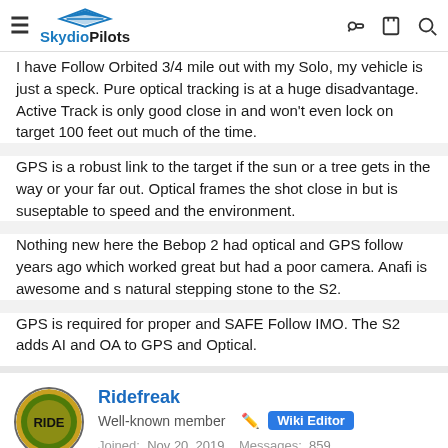SkydioPilots
I have Follow Orbited 3/4 mile out with my Solo, my vehicle is just a speck. Pure optical tracking is at a huge disadvantage. Active Track is only good close in and won't even lock on target 100 feet out much of the time.
GPS is a robust link to the target if the sun or a tree gets in the way or your far out. Optical frames the shot close in but is suseptable to speed and the environment.
Nothing new here the Bebop 2 had optical and GPS follow years ago which worked great but had a poor camera. Anafi is awesome and s natural stepping stone to the S2.
GPS is required for proper and SAFE Follow IMO. The S2 adds AI and OA to GPS and Optical.
Ridefreak
Well-known member  Wiki Editor
Joined: Nov 20, 2019  Messages: 859  Reaction score: 571